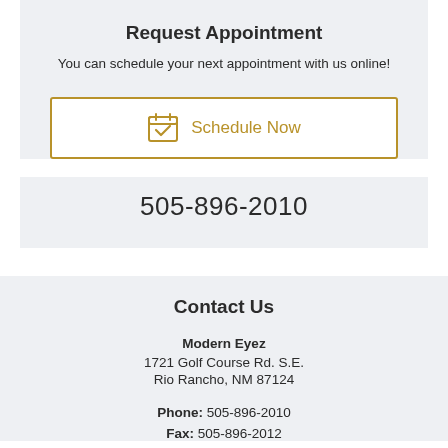Request Appointment
You can schedule your next appointment with us online!
[Figure (other): Golden bordered button with calendar-check icon and text 'Schedule Now']
505-896-2010
Contact Us
Modern Eyez
1721 Golf Course Rd. S.E.
Rio Rancho, NM 87124
Phone: 505-896-2010
Fax: 505-896-2012